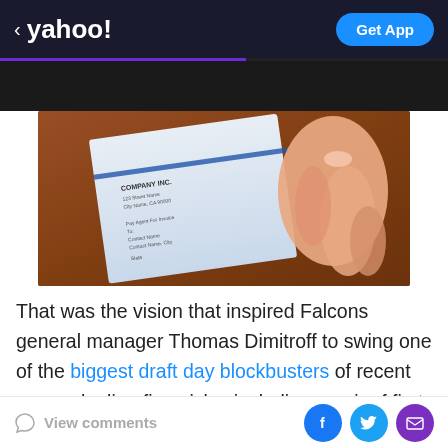< yahoo!  Get App
[Figure (photo): A hand holding an envelope or letter addressed to COMPANY INC. with address details, against a reddish-brown background]
That was the vision that inspired Falcons general manager Thomas Dimitroff to swing one of the biggest draft day blockbusters of recent years, dealing five picks, including a pair of first-rounders, to the Cleveland Browns to trade up to land Jones with the sixth overall selection of the 2011 draft. Yet the injection of Jones, a
View comments